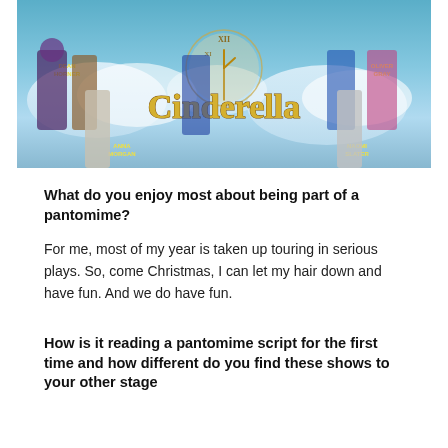[Figure (photo): Cinderella pantomime promotional poster showing cast members including Dean Horner, Oliver Gray, Anna Morgan, Naomi Slater against a blue sky background with large 'Cinderella' gold text and a clock]
What do you enjoy most about being part of a pantomime?
For me, most of my year is taken up touring in serious plays. So, come Christmas, I can let my hair down and have fun. And we do have fun.
How is it reading a pantomime script for the first time and how different do you find these shows to your other stage